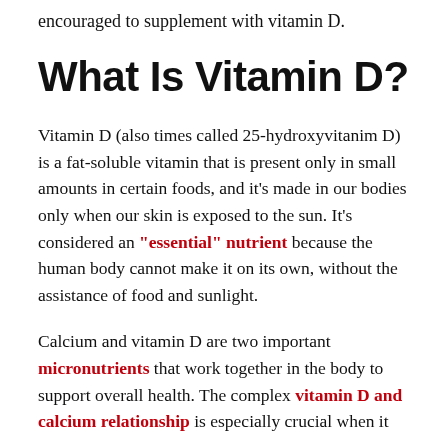encouraged to supplement with vitamin D.
What Is Vitamin D?
Vitamin D (also times called 25-hydroxyvitanim D) is a fat-soluble vitamin that is present only in small amounts in certain foods, and it's made in our bodies only when our skin is exposed to the sun. It's considered an "essential" nutrient because the human body cannot make it on its own, without the assistance of food and sunlight.
Calcium and vitamin D are two important micronutrients that work together in the body to support overall health. The complex vitamin D and calcium relationship is especially crucial when it